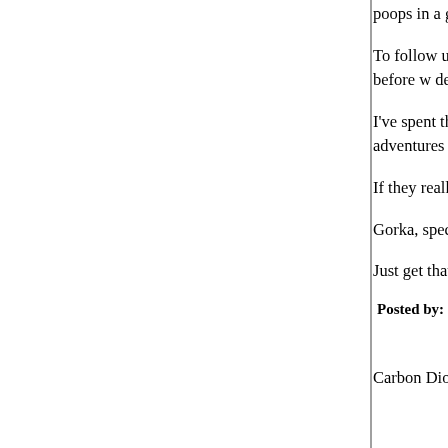poops in a gold toilet.
To follow up on the Gorkas of the world, it took, c people - not strangers, neighbors, fellow-countrymen other to bits to settle political differences before w developed the annoying, cumbersome, bureaucra provide a practical alternative to violence.
I've spent the last almost-20 years now listening t about killing people they disagree with. It's time fo under whatever rock they were hiding under befo adventures and MAGA gave them a place in the p
If they really, really, really want a war, I'm sure on one. They probably don't either, they just like to e about it. It's childish and stupid and harmful.
Gorka, specifically, is welcome to go back to Hun of view is quite popular there these days, maybe  job.
Just get that crap out of my country.
Posted by: russell | February 23, 2019 at 11:01 AM
Carbon Dioxide is being demonized just like the